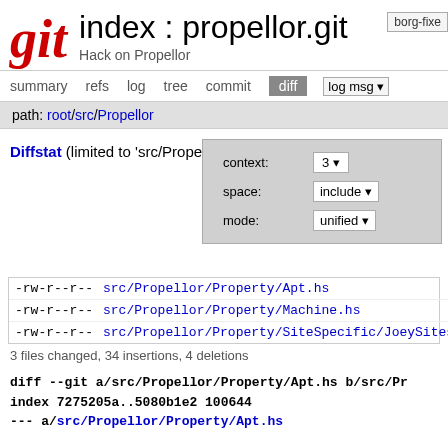git index : propellor.git  borg-fixe  Hack on Propellor
summary  refs  log  tree  commit  diff   log msg
path: root/src/Propellor
Diffstat (limited to 'src/Propellor')  diff options
| permissions | file | changes |
| --- | --- | --- |
| -rw-r--r-- | src/Propellor/Property/Apt.hs | 6 |
| -rw-r--r-- | src/Propellor/Property/Machine.hs | 2 |
| -rw-r--r-- | src/Propellor/Property/SiteSpecific/JoeySites.hs | 30 |
3 files changed, 34 insertions, 4 deletions
diff --git a/src/Propellor/Property/Apt.hs b/src/Pr
index 7275205a..5080b1e2 100644
--- a/src/Propellor/Property/Apt.hs